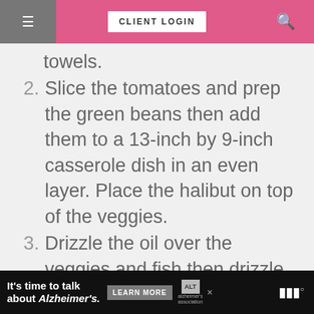CLIENT LOGIN
towers.
2. Slice the tomatoes and prep the green beans then add them to a 13-inch by 9-inch casserole dish in an even layer. Place the halibut on top of the veggies.
3. Drizzle the oil over the veggies and fish then drizzle the lemon juice. Sprinkle with salt and pepper and Italian seasoning.
4. Bake 15-18 minutes until the fish is opaque and flakes easily with a fork and veggies are al dente. Serve
It’s time to talk about Alzheimer’s. LEARN MORE